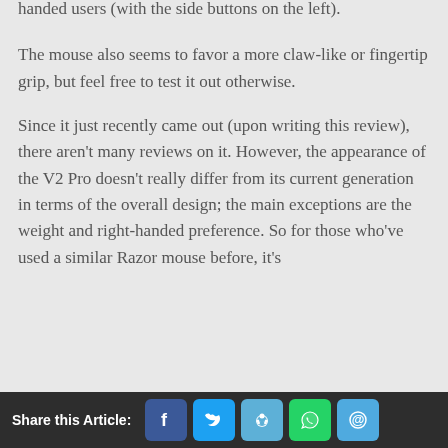handed users (with the side buttons on the left).
The mouse also seems to favor a more claw-like or fingertip grip, but feel free to test it out otherwise.
Since it just recently came out (upon writing this review), there aren't many reviews on it. However, the appearance of the V2 Pro doesn't really differ from its current generation in terms of the overall design; the main exceptions are the weight and right-handed preference. So for those who've used a similar Razor mouse before, it's
Share this Article: